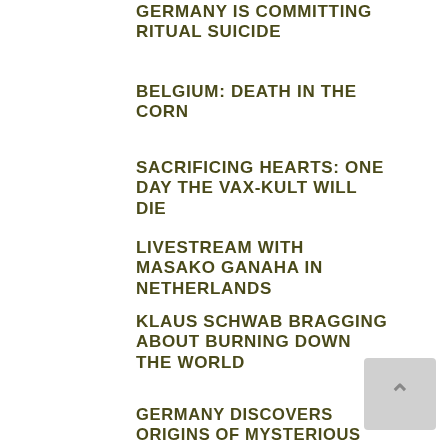GERMANY IS COMMITTING RITUAL SUICIDE
BELGIUM: DEATH IN THE CORN
SACRIFICING HEARTS: ONE DAY THE VAX-KULT WILL DIE
LIVESTREAM WITH MASAKO GANAHA IN NETHERLANDS
KLAUS SCHWAB BRAGGING ABOUT BURNING DOWN THE WORLD
GERMANY DISCOVERS ORIGINS OF MYSTERIOUS DARK ENERGY
GERMANY POWERING DOWN
MARCHING TOWARD CANNIBALISM: DON'T BECOME CANADIAN BACON